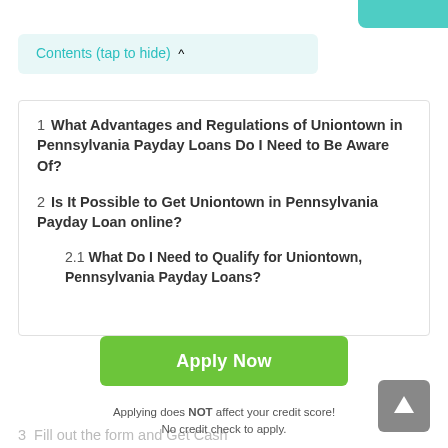Contents (tap to hide) ^
1 What Advantages and Regulations of Uniontown in Pennsylvania Payday Loans Do I Need to Be Aware Of?
2 Is It Possible to Get Uniontown in Pennsylvania Payday Loan online?
2.1 What Do I Need to Qualify for Uniontown, Pennsylvania Payday Loans?
3 Fill out the form and Get Cash
Apply Now
Applying does NOT affect your credit score! No credit check to apply.